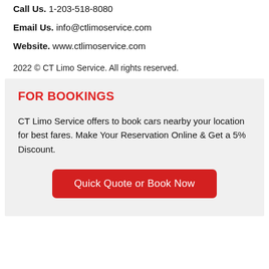Call Us. 1-203-518-8080
Email Us. info@ctlimoservice.com
Website. www.ctlimoservice.com
2022 © CT Limo Service. All rights reserved.
FOR BOOKINGS
CT Limo Service offers to book cars nearby your location for best fares. Make Your Reservation Online & Get a 5% Discount.
Quick Quote or Book Now